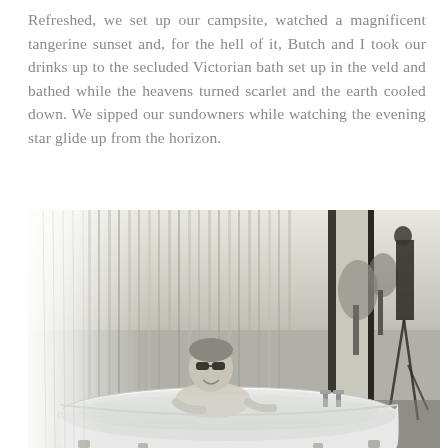Refreshed, we set up our campsite, watched a magnificent tangerine sunset and, for the hell of it, Butch and I took our drinks up to the secluded Victorian bath set up in the veld and bathed while the heavens turned scarlet and the earth cooled down. We sipped our sundowners while watching the evening star glide up from the horizon.
[Figure (photo): Black and white photograph of a person wearing sunglasses sitting in a freestanding Victorian clawfoot bathtub outdoors in the veld, smiling at the camera. Behind them is a reed/bamboo screen wall and open bushveld landscape. Another person stands in the background on the right side.]